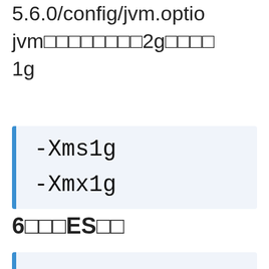5.6.0/config/jvm.optio
jvm□□□□□□□□2g□□□□
1g
-Xms1g
-Xmx1g
6□□□ES□□